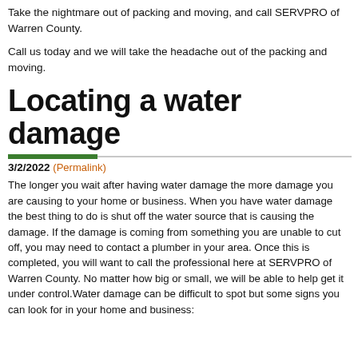Take the nightmare out of packing and moving, and call SERVPRO of Warren County.

Call us today and we will take the headache out of the packing and moving.
Locating a water damage
3/2/2022 (Permalink)
The longer you wait after having water damage the more damage you are causing to your home or business. When you have water damage the best thing to do is shut off the water source that is causing the damage. If the damage is coming from something you are unable to cut off, you may need to contact a plumber in your area. Once this is completed, you will want to call the professional here at SERVPRO of Warren County. No matter how big or small, we will be able to help get it under control.Water damage can be difficult to spot but some signs you can look for in your home and business: